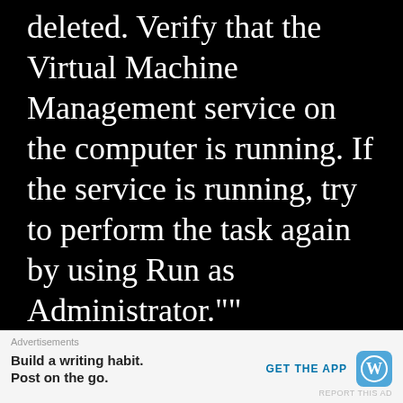deleted. Verify that the Virtual Machine Management service on the computer is running. If the service is running, try to perform the task again by using Run as Administrator.""
DAN REGALIA SAYS
September 18, 2018 at 12:49 am
So, tried your solution… (running
Advertisements
Build a writing habit.
Post on the go.
GET THE APP